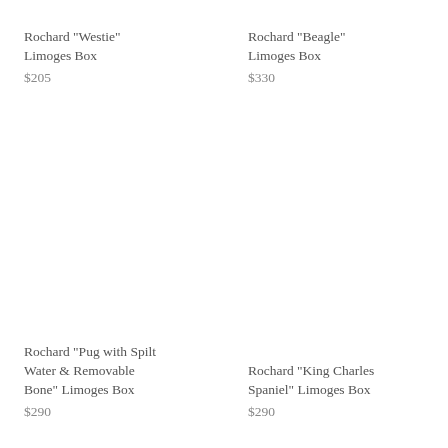Rochard "Westie" Limoges Box
$205
Rochard "Beagle" Limoges Box
$330
Rochard "Pug with Spilt Water & Removable Bone" Limoges Box
$290
Rochard "King Charles Spaniel" Limoges Box
$290